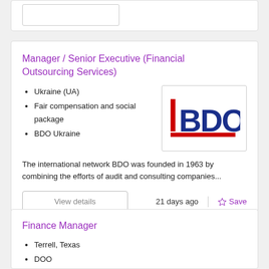[Figure (other): Top card stub with a small rounded rectangle button placeholder]
Manager / Senior Executive (Financial Outsourcing Services)
Ukraine (UA)
Fair compensation and social package
BDO Ukraine
[Figure (logo): BDO logo with blue letters B, D, O and a vertical red bar on the left, red underline]
The international network BDO was founded in 1963 by combining the efforts of audit and consulting companies...
View details
21 days ago
Save
Finance Manager
Terrell, Texas
DOO